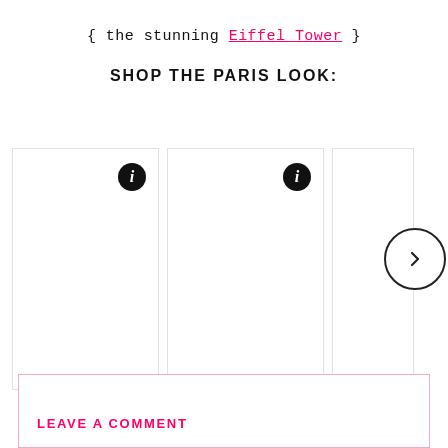{ the stunning Eiffel Tower }
SHOP THE PARIS LOOK:
[Figure (other): Three product image cards in a horizontal carousel with info icons and a next-arrow navigation button. The cards appear blank/empty (product images not loaded).]
LEAVE A COMMENT